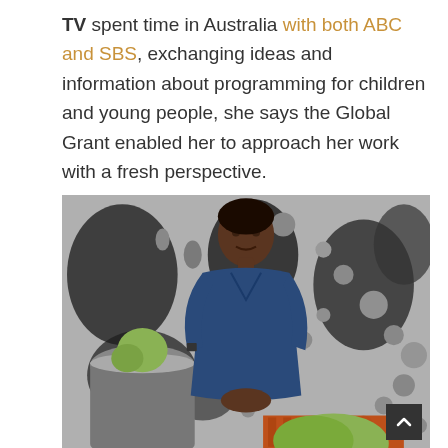TV spent time in Australia with both ABC and SBS, exchanging ideas and information about programming for children and young people, she says the Global Grant enabled her to approach her work with a fresh perspective.
[Figure (photo): A woman wearing a navy blue short-sleeve dress stands in front of a large black and grey abstract mural/artwork, with large round grey pot planters containing cacti visible in the foreground and sides.]